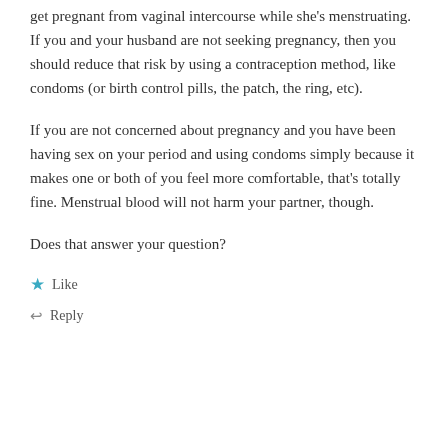get pregnant from vaginal intercourse while she’s menstruating. If you and your husband are not seeking pregnancy, then you should reduce that risk by using a contraception method, like condoms (or birth control pills, the patch, the ring, etc).
If you are not concerned about pregnancy and you have been having sex on your period and using condoms simply because it makes one or both of you feel more comfortable, that’s totally fine. Menstrual blood will not harm your partner, though.
Does that answer your question?
★ Like
↩ Reply